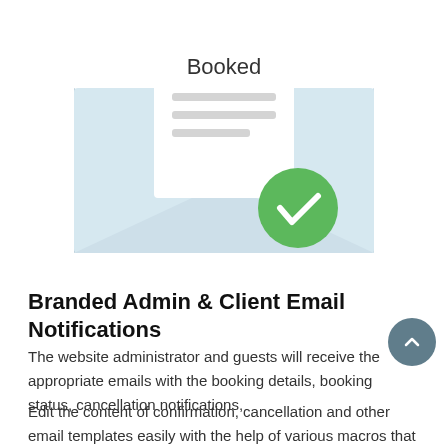[Figure (illustration): An open envelope illustration showing a letter with the word 'Booked' at the top, three horizontal lines below it representing text, and a green circle with a white checkmark overlapping the lower-right of the envelope.]
Branded Admin & Client Email Notifications
The website administrator and guests will receive the appropriate emails with the booking details, booking status, cancellation notifications,
Edit the content of confirmation, cancellation and other email templates easily with the help of various macros that automatically get replaced